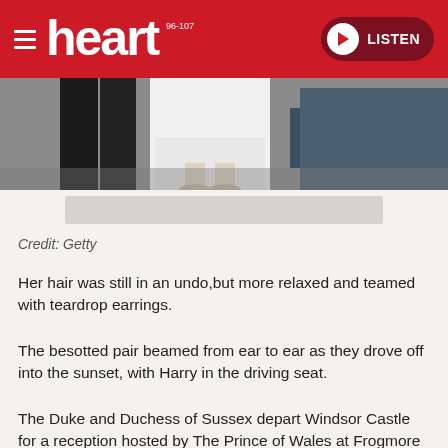[Figure (screenshot): Heart FM website header with red background, hamburger menu, Heart 96-107 logo in white, and a dark red Listen button with play icon]
[Figure (photo): Cropped wedding photo showing lower portion of figures, including a white wedding dress and dark suit trousers, outdoors on gravel]
Credit: Getty
Her hair was still in an undo,but more relaxed and teamed with teardrop earrings.
The besotted pair beamed from ear to ear as they drove off into the sunset, with Harry in the driving seat.
The Duke and Duchess of Sussex depart Windsor Castle for a reception hosted by The Prince of Wales at Frogmore